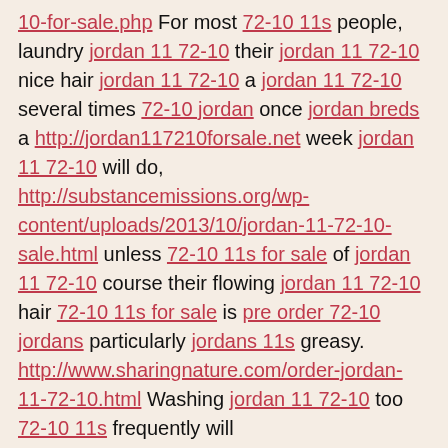10-for-sale.php For most 72-10 11s people, laundry jordan 11 72-10 their jordan 11 72-10 nice hair jordan 11 72-10 a jordan 11 72-10 several times 72-10 jordan once jordan breds a http://jordan117210forsale.net week jordan 11 72-10 will do, http://substancemissions.org/wp-content/uploads/2013/10/jordan-11-72-10-sale.html unless 72-10 11s for sale of jordan 11 72-10 course their flowing jordan 11 72-10 hair 72-10 11s for sale is pre order 72-10 jordans particularly jordans 11s greasy. http://www.sharingnature.com/order-jordan-11-72-10.html Washing jordan 11 72-10 too 72-10 11s frequently will http://www.buybootsavemore.com/jordan-retro-11s-72-10-sale.html turn 72-10 11s hair www.payfort.com/72-10-11s-for-sale.php dry